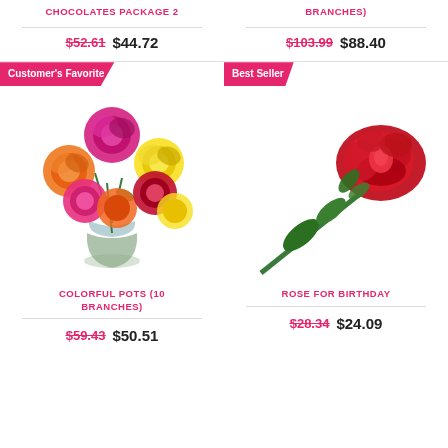CHOCOLATES PACKAGE 2
$52.61  $44.72
BRANCHES)
$103.99  $88.40
[Figure (photo): Colorful mixed roses (orange, pink, yellow) in a glass vase. Badge: Customer's Favorite]
COLORFUL POTS (10 BRANCHES)
$59.43  $50.51
[Figure (photo): Single red rose lying on white background. Badge: Best Seller]
ROSE FOR BIRTHDAY
$28.34  $24.09